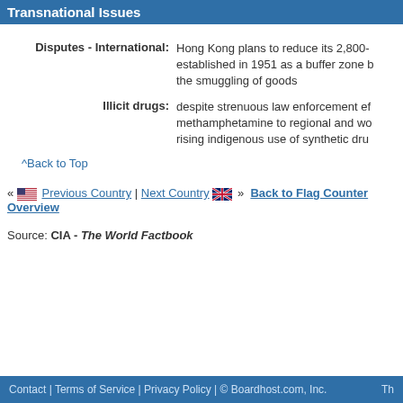Transnational Issues
Disputes - International: Hong Kong plans to reduce its 2,800- established in 1951 as a buffer zone b the smuggling of goods
Illicit drugs: despite strenuous law enforcement ef methamphetamine to regional and wo rising indigenous use of synthetic dru
^Back to Top
« Previous Country | Next Country » Back to Flag Counter Overview
Source: CIA - The World Factbook
Contact | Terms of Service | Privacy Policy | © Boardhost.com, Inc.